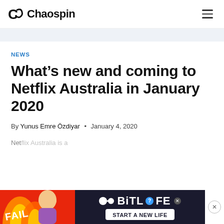Chaospin
NEWS
What's new and coming to Netflix Australia in January 2020
By Yunus Emre Özdiyar • January 4, 2020
Netflix Australia is...
[Figure (screenshot): BitLife advertisement banner at bottom of page]